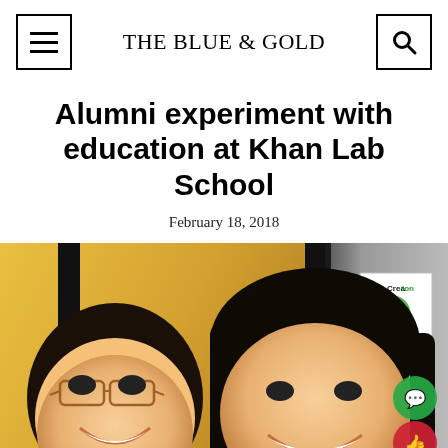THE BLUE & GOLD
Alumni experiment with education at Khan Lab School
February 18, 2018
[Figure (photo): Two smiling young people taking a selfie inside a room with yellow walls and dark wood panels. Background shows a door and a sign. Social media icons visible in bottom-right corner.]